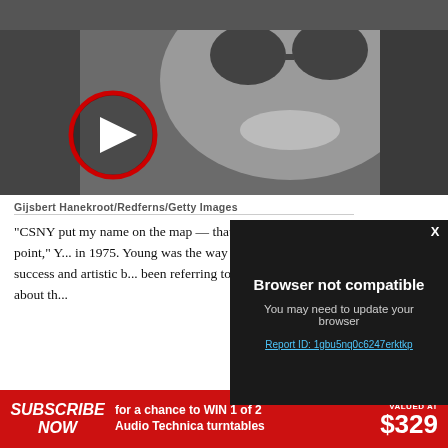[Figure (photo): Black and white photo of a young man wearing round sunglasses, smiling, with a video play button overlay (red circle with white triangle) in the lower left]
Gijsbert Hanekroot/Redferns/Getty Images
“CSNY put my name on the map — that was the turning point,” Young recalled in 1975. Young was talking about the way it vaulted him into commercial success and artistic b... been referring to the ... piano ballad about th...
[Figure (screenshot): Dark modal dialog box with title 'Browser not compatible', subtitle 'You may need to update your browser', and a blue underlined link 'Report ID: 1gbu5nq0c6247erktkp', with a white X close button in the upper right]
[Figure (infographic): Red advertisement banner: SUBSCRIBE NOW (italic) for a chance to WIN 1 of 2 Audio Technica turntables VALUED AT $329]